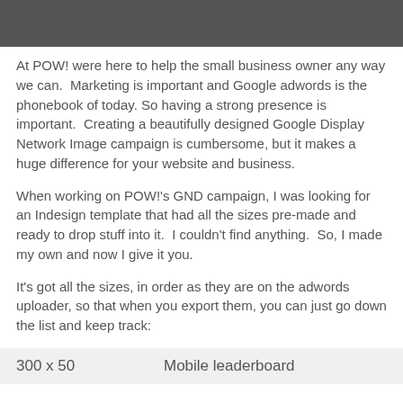At POW! were here to help the small business owner any way we can.  Marketing is important and Google adwords is the phonebook of today. So having a strong presence is important.  Creating a beautifully designed Google Display Network Image campaign is cumbersome, but it makes a huge difference for your website and business.
When working on POW!'s GND campaign, I was looking for an Indesign template that had all the sizes pre-made and ready to drop stuff into it.  I couldn't find anything.  So, I made my own and now I give it you.
It's got all the sizes, in order as they are on the adwords uploader, so that when you export them, you can just go down the list and keep track:
| 300 x 50 | Mobile leaderboard |